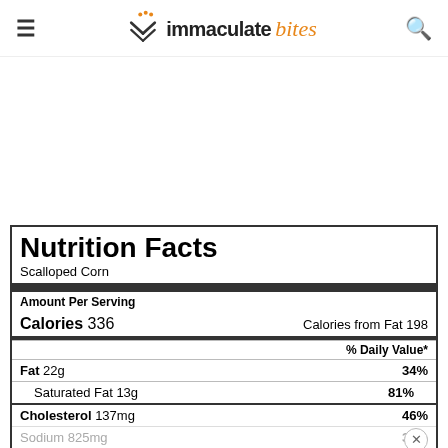immaculate bites
| Nutrient | % Daily Value |
| --- | --- |
| Amount Per Serving |  |
| Calories 336 | Calories from Fat 198 |
| % Daily Value* |  |
| Fat 22g | 34% |
| Saturated Fat 13g | 81% |
| Cholesterol 137mg | 46% |
| Sodium 825mg | 36% |
| Potassium 335mg | 10% |
| Carbohydrates 27g | 9% |